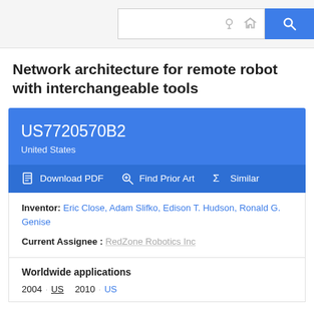Search bar with icons
Network architecture for remote robot with interchangeable tools
US7720570B2
United States
Download PDF  Find Prior Art  Similar
Inventor: Eric Close, Adam Slifko, Edison T. Hudson, Ronald G. Genise
Current Assignee : RedZone Robotics Inc
Worldwide applications
2004 · US  2010 · US